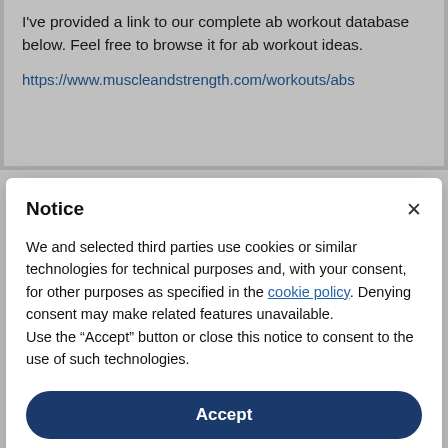I've provided a link to our complete ab workout database below. Feel free to browse it for ab workout ideas.

https://www.muscleandstrength.com/workouts/abs
Notice
We and selected third parties use cookies or similar technologies for technical purposes and, with your consent, for other purposes as specified in the cookie policy. Denying consent may make related features unavailable.
Use the "Accept" button or close this notice to consent to the use of such technologies.
Accept
Learn more and customize